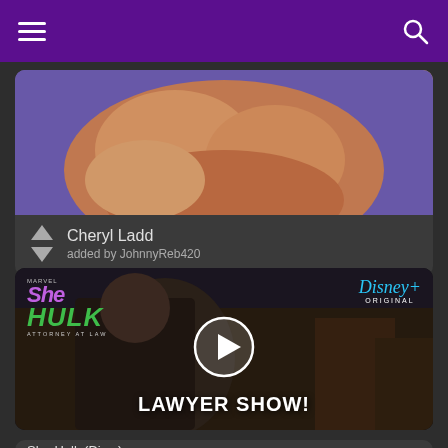Navigation bar with hamburger menu and search icon
[Figure (screenshot): Cheryl Ladd image card with upvote/downvote arrows, name 'Cheryl Ladd', added by JohnnyReb420]
Cheryl Ladd
added by JohnnyReb420
[Figure (screenshot): She-Hulk: Attorney at Law Disney+ Original video thumbnail with play button and text 'LAWYER SHOW!']
She-Hulk (Dis...